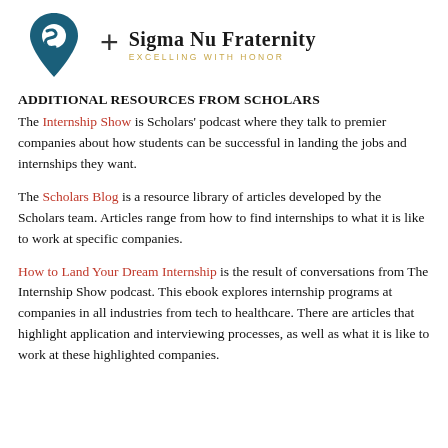[Figure (logo): Scholars location pin logo in dark teal, plus sign, and Sigma Nu Fraternity text logo with tagline EXCELLING WITH HONOR]
ADDITIONAL RESOURCES FROM SCHOLARS
The Internship Show is Scholars’ podcast where they talk to premier companies about how students can be successful in landing the jobs and internships they want.
The Scholars Blog is a resource library of articles developed by the Scholars team. Articles range from how to find internships to what it is like to work at specific companies.
How to Land Your Dream Internship is the result of conversations from The Internship Show podcast. This ebook explores internship programs at companies in all industries from tech to healthcare. There are articles that highlight application and interviewing processes, as well as what it is like to work at these highlighted companies.